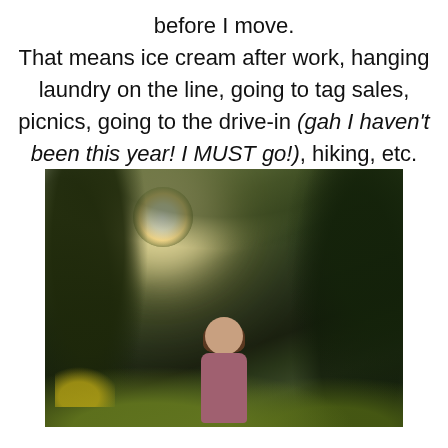before I move. That means ice cream after work, hanging laundry on the line, going to tag sales, picnics, going to the drive-in (gah I haven't been this year! I MUST go!), hiking, etc.
[Figure (photo): A woman with bangs and long brown hair stands outdoors surrounded by trees and green foliage. Bright sunlight shines through the trees in the upper left creating a strong lens flare. Yellow wildflowers are visible in the lower left foreground.]